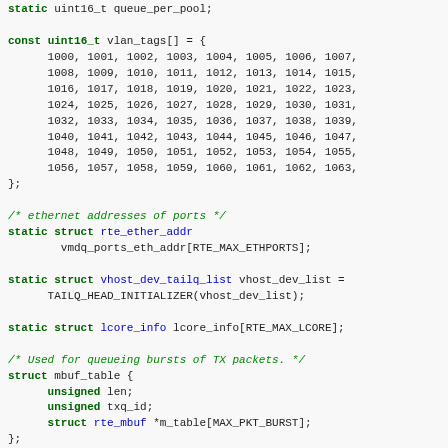Code snippet showing C struct and variable declarations including vlan_tags array, ethernet port addresses, vhost device list, lcore info, mbuf_table struct, and vhost_bufftable struct.